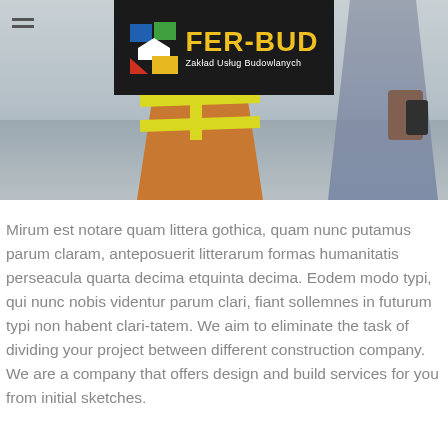[Figure (photo): Hero banner showing construction workers in hard hats and safety vests reviewing documents on a job site, with a company logo overlay at the top center.]
Mirum est notare quam littera gothica, quam nunc putamus parum claram, anteposuerit litterarum formas humanitatis perseacula quarta decima etquinta decima. Eodem modo typi, qui nunc nobis videntur parum clari, fiant sollemnes in futurum typi non habent clari-tatem. We aim to eliminate the task of dividing your project between different construction company. We are a company that offers design and build services for you from initial sketches.